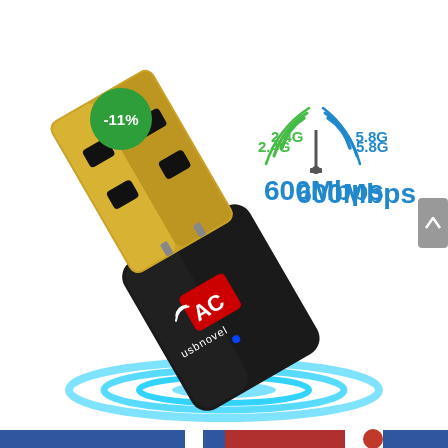[Figure (photo): USB WiFi AC wireless network adapter dongle (black with gold USB connector), branded 'usbnovel', with WiFi AC logo, tilted at an angle on a white background with blue circular signal waves beneath it.]
-11%
2.4G  5.8G
600Mbps